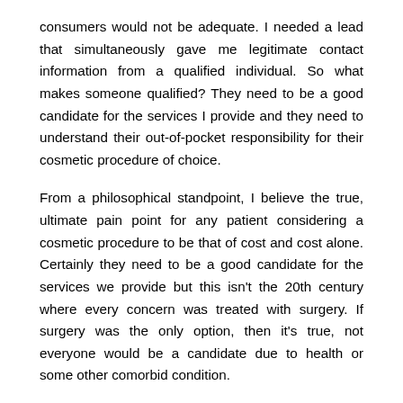consumers would not be adequate. I needed a lead that simultaneously gave me legitimate contact information from a qualified individual. So what makes someone qualified? They need to be a good candidate for the services I provide and they need to understand their out-of-pocket responsibility for their cosmetic procedure of choice.
From a philosophical standpoint, I believe the true, ultimate pain point for any patient considering a cosmetic procedure to be that of cost and cost alone. Certainly they need to be a good candidate for the services we provide but this isn't the 20th century where every concern was treated with surgery. If surgery was the only option, then it's true, not everyone would be a candidate due to health or some other comorbid condition.